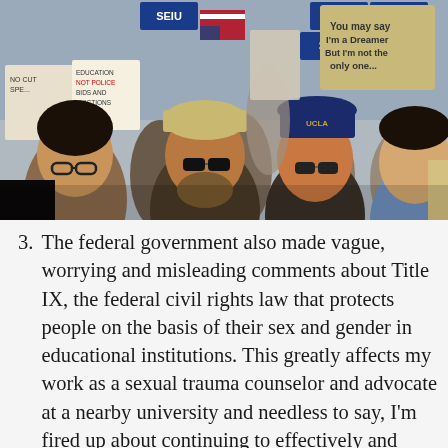[Figure (photo): A crowd of protesters holding signs including SEIU union signs and a sign reading 'You may say I'm a Dreamer But I'm not the only one...' People in foreground include a woman with glasses, a man with sunglasses, a woman with sunglasses wearing a UCLA cap, and a man in a blue shirt.]
The federal government also made vague, worrying and misleading comments about Title IX, the federal civil rights law that protects people on the basis of their sex and gender in educational institutions. This greatly affects my work as a sexual trauma counselor and advocate at a nearby university and needless to say, I'm fired up about continuing to effectively and appropriately respond to survivors of violence in my community. This is difficult to balance with my